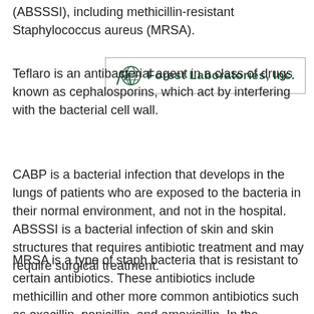(ABSSSI), including methicillin-resistant Staphylococcus aureus (MRSA).
[Figure (logo): Forest Laboratories, Inc. logo with globe and stylized mountain/peak icon in green and teal, enclosed in a rectangular border]
Teflaro is an antibacterial agent in a class of drugs known as cephalosporins, which act by interfering with the bacterial cell wall.
CABP is a bacterial infection that develops in the lungs of patients who are exposed to the bacteria in their normal environment, and not in the hospital. ABSSSI is a bacterial infection of skin and skin structures that requires antibiotic treatment and may require surgical treatment.
MRSA is a type of staph bacteria that is resistant to certain antibiotics. These antibiotics include methicillin and other more common antibiotics such as oxacillin, penicillin, and amoxicillin. In the community, most MRSA infections are skin infections. Severe or potentially life-threatening MRSA infections occur most frequently among